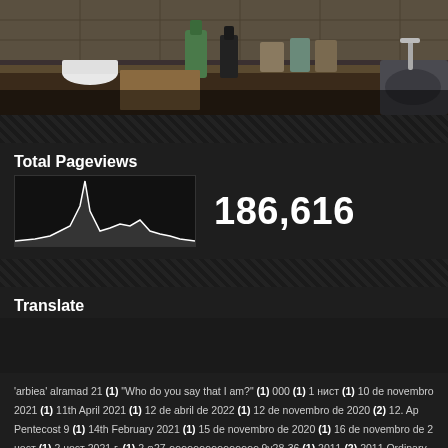[Figure (photo): Kitchen counter/shelf area with bottles, jars and containers visible, dark background]
Total Pageviews
[Figure (line-chart): Small sparkline showing pageview history with a sharp spike]
186,616
Translate
'arbiea' alramad 21 (1) "Who do you say that I am?" (1) 000 (1) 1 нист (1) 10 de novembro 2021 (1) 11th April 2021 (1) 12 de abril de 2022 (1) 12 de novembro de 2020 (2) 12. Ap Pentecost 9 (1) 14th February 2021 (1) 15 de novembro de 2020 (1) 16 de novembro de 2 ноcт (1) 2 ноcт 2021 г. (1) 2 ต27 กกกกกกกกกกกกกกก 9v28-36 (1) 2011 (2) 2011 Ordinary 22A novembro de 2020 (1) 2020년11월11일Orações noturnas 11 de novembro de 2020 (1) 2020 de novembro de 2020 (2) 2020년11월13일 Orações noturnas 13 de novembro de 2020 ( 2020 (1) 2020년11월17일 17 novembro 2020 (1) 2020년 7월 (1) 2020